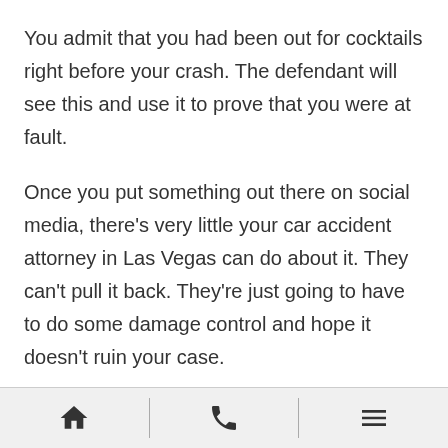You admit that you had been out for cocktails right before your crash. The defendant will see this and use it to prove that you were at fault.
Once you put something out there on social media, there's very little your car accident attorney in Las Vegas can do about it. They can't pull it back. They're just going to have to do some damage control and hope it doesn't ruin your case.
Your Las Vegas Car Accident Lawyer Will Demand Damages
Home | Phone | Menu